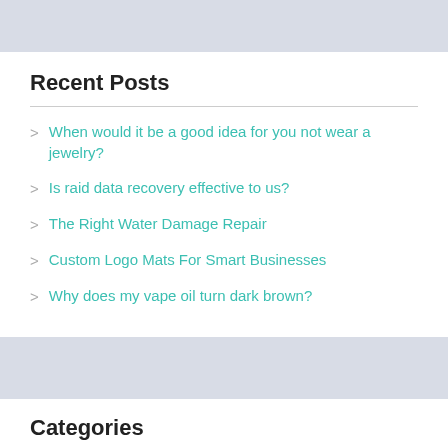Recent Posts
When would it be a good idea for you not wear a jewelry?
Is raid data recovery effective to us?
The Right Water Damage Repair
Custom Logo Mats For Smart Businesses
Why does my vape oil turn dark brown?
Categories
Auto
Construction & Contractors